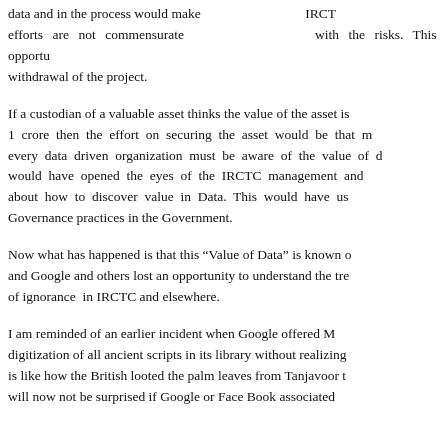data and in the process would make IRCT efforts are not commensurate with the risks. This opportunity led to withdrawal of the project.
If a custodian of a valuable asset thinks the value of the asset is 1 crore then the effort on securing the asset would be that much. every data driven organization must be aware of the value of data would have opened the eyes of the IRCTC management and about how to discover value in Data. This would have used Governance practices in the Government.
Now what has happened is that this “Value of Data” is known only and Google and others lost an opportunity to understand the true nature of ignorance in IRCTC and elsewhere.
I am reminded of an earlier incident when Google offered M digitization of all ancient scripts in its library without realizing is like how the British looted the palm leaves from Tanjavoor t will now not be surprised if Google or Face Book associated